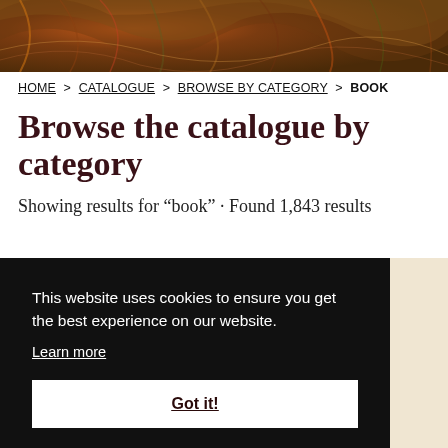[Figure (photo): Decorative marbled paper header image with swirling brown, red, green, and gold patterns]
HOME > CATALOGUE > BROWSE BY CATEGORY > BOOK
Browse the catalogue by category
Showing results for “book” · Found 1,843 results
This website uses cookies to ensure you get the best experience on our website.
Learn more
Got it!
A Sentimental Journey Through